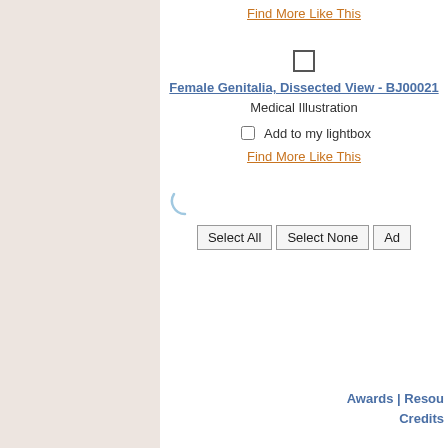Find More Like This
[Figure (screenshot): Checkbox (unchecked, large border)]
Female Genitalia, Dissected View - BJ00021
Medical Illustration
Add to my lightbox
Find More Like This
[Figure (screenshot): Loading spinner icon (partial arc)]
Select All | Select None | Ad...
Awards | Resou... Credits